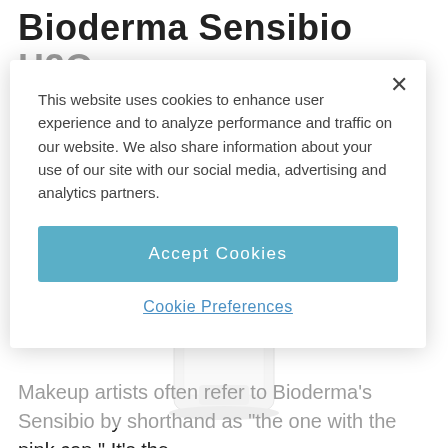Bioderma Sensibio H2O
[Figure (photo): Partial view of a Bioderma Sensibio product bottle, bottom portion visible]
This website uses cookies to enhance user experience and to analyze performance and traffic on our website. We also share information about your use of our site with our social media, advertising and analytics partners.
Accept Cookies
Cookie Preferences
Makeup artists often refer to Bioderma's Sensibio by shorthand as "the one with the pink cap." It's the